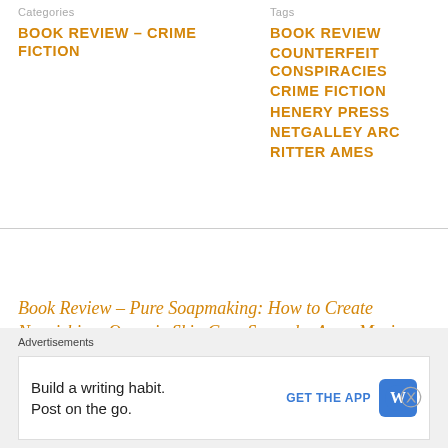Categories
BOOK REVIEW – CRIME FICTION
Tags
BOOK REVIEW
COUNTERFEIT CONSPIRACIES
CRIME FICTION
HENERY PRESS
NETGALLEY ARC
RITTER AMES
Book Review – Pure Soapmaking: How to Create Nourishing, Organic Skin Care Soaps by Anne-Marie Faiola.
PREVIOUS
Advertisements
Build a writing habit. Post on the go.
GET THE APP